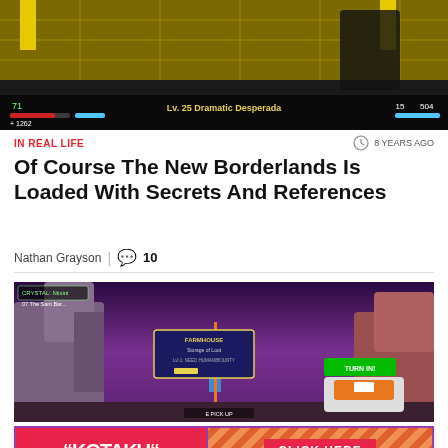[Figure (screenshot): Borderlands video game screenshot showing a cel-shaded environment with HUD elements including health bar and a mission marker showing 'Lv.25 Dramatic Desperada']
IN REAL LIFE
8 YEARS AGO
Of Course The New Borderlands Is Loaded With Secrets And References
Nathan Grayson | 10
[Figure (screenshot): Borderlands video game screenshot showing a character in a rocky outdoor environment with a quest tooltip popup showing item details and a 'TURN IN' prompt]
[Figure (logo): Kotaku advertisement banner with Kotaku logo on red background and 'CLICK HERE' button on striped orange background]